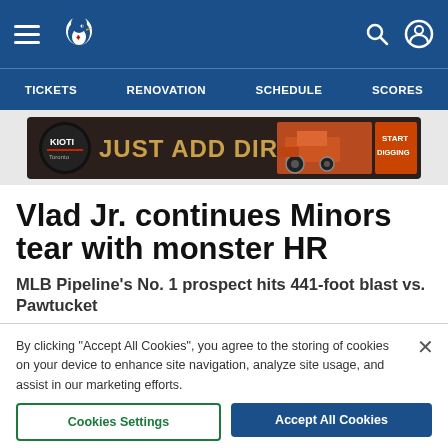Toronto Blue Jays navigation bar with hamburger menu, Blue Jays logo, search and user icons
TICKETS   RENOVATION   SCHEDULE   SCORES
[Figure (infographic): Advertisement banner: Kioti 'JUST ADD DIRT' tractor promotion with orange tractor image and 'START DIGGING' call to action]
Vlad Jr. continues Minors tear with monster HR
MLB Pipeline's No. 1 prospect hits 441-foot blast vs. Pawtucket
By clicking "Accept All Cookies", you agree to the storing of cookies on your device to enhance site navigation, analyze site usage, and assist in our marketing efforts.
Cookies Settings   Accept All Cookies